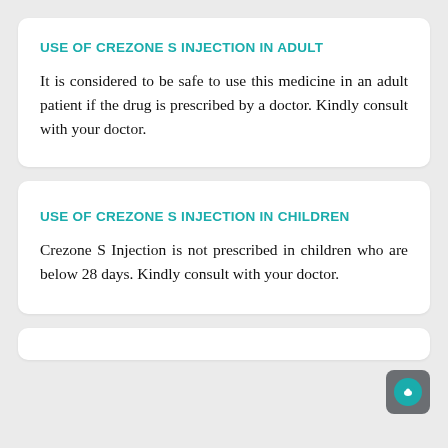USE OF CREZONE S INJECTION IN ADULT
It is considered to be safe to use this medicine in an adult patient if the drug is prescribed by a doctor. Kindly consult with your doctor.
USE OF CREZONE S INJECTION IN CHILDREN
Crezone S Injection is not prescribed in children who are below 28 days. Kindly consult with your doctor.